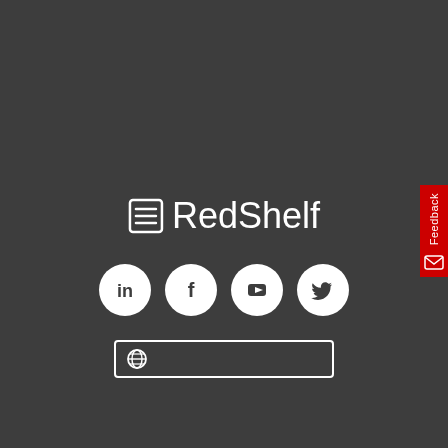[Figure (logo): RedShelf logo with document/list icon followed by text 'RedShelf' in white on dark background]
[Figure (infographic): Four white circular social media icons: LinkedIn, Facebook, YouTube, Twitter]
[Figure (infographic): White rounded rectangle URL input bar with globe icon on left]
[Figure (infographic): Red vertical Feedback tab on right edge with envelope icon]